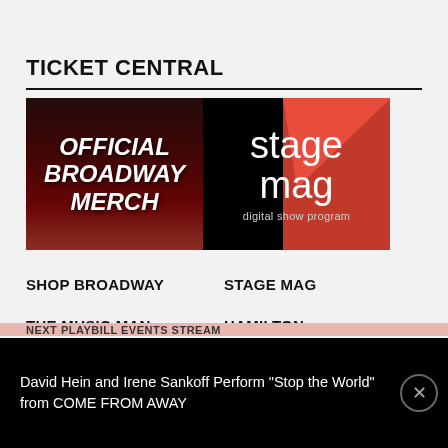TICKET CENTRAL
[Figure (illustration): Two banner images side by side: left shows 'OFFICIAL BROADWAY MERCH' in bold italic white text on dark red/black background with curtain imagery; right shows 'stage mag digital show program' in white text on black and red background]
SHOP BROADWAY
STAGE MAG
THE MUSIC MAN
HAMILTON
HADESTOWN
INTO THE WOODS
MJ, THE MUSICAL
BEETLEJUICE
David Hein and Irene Sankoff Perform "Stop the World" from COME FROM AWAY